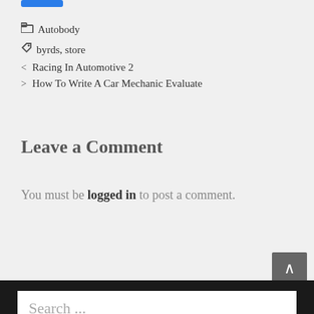Autobody
byrds, store
< Racing In Automotive 2
> How To Write A Car Mechanic Evaluate
Leave a Comment
You must be logged in to post a comment.
Search ...